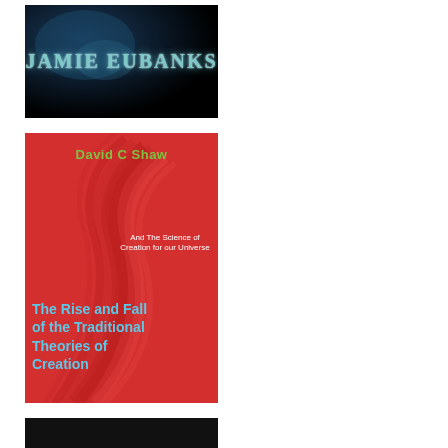[Figure (illustration): Book cover with dark/black background and teal glowing text reading 'Jamie Eubanks' in bold uppercase serif font]
[Figure (illustration): Book cover with red background featuring decorative swirl lines. Author name 'David C Shaw' in green at top, subtitle 'And The Science of Creation for our Universe' in white on right, main title 'The Rise and Fall of the Traditional Theories of Creation' in bold cyan/light blue on lower left]
[Figure (illustration): Partial view of another book cover with dark/black background, cropped at bottom of page]